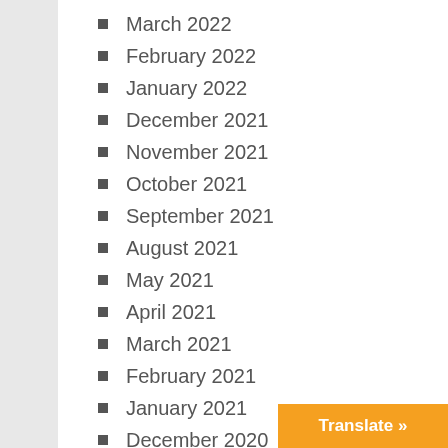March 2022
February 2022
January 2022
December 2021
November 2021
October 2021
September 2021
August 2021
May 2021
April 2021
March 2021
February 2021
January 2021
December 2020
November 2020
October 2020
September 2020
Translate »